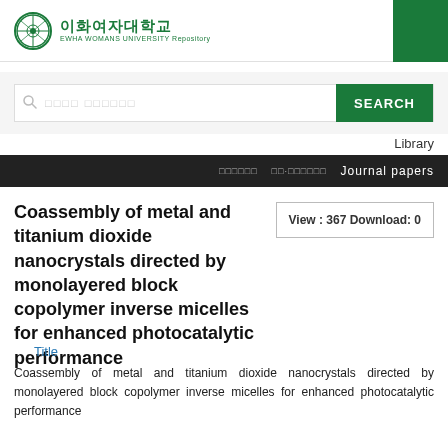[Figure (logo): Ewha Womans University logo with Korean text 이화여자대학교 and English subtitle EWHA WOMANS UNIVERSITY Repository]
[Figure (screenshot): Search bar with placeholder text and green SEARCH button]
Library
□□□□□□  □□·□□□□□□  Journal papers
Coassembly of metal and titanium dioxide nanocrystals directed by monolayered block copolymer inverse micelles for enhanced photocatalytic performance
View : 367 Download: 0
Title
Coassembly of metal and titanium dioxide nanocrystals directed by monolayered block copolymer inverse micelles for enhanced photocatalytic performance